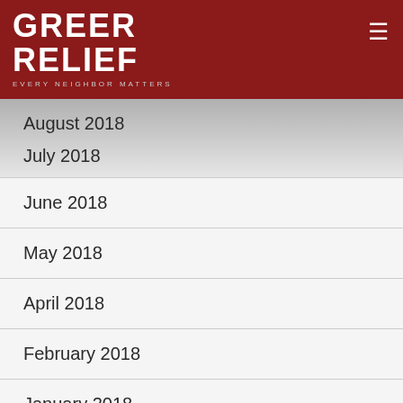[Figure (logo): Greer Relief logo with dark red background, white bold text 'GREER RELIEF' and tagline 'EVERY NEIGHBOR MATTERS']
August 2018
July 2018
June 2018
May 2018
April 2018
February 2018
January 2018
November 2017